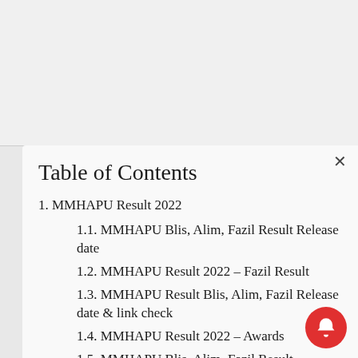Table of Contents
1. MMHAPU Result 2022
1.1. MMHAPU Blis, Alim, Fazil Result Release date
1.2. MMHAPU Result 2022 – Fazil Result
1.3. MMHAPU Result Blis, Alim, Fazil Release date & link check
1.4. MMHAPU Result 2022 – Awards
1.5. MMHAPU Blis, Alim, Fazil Result